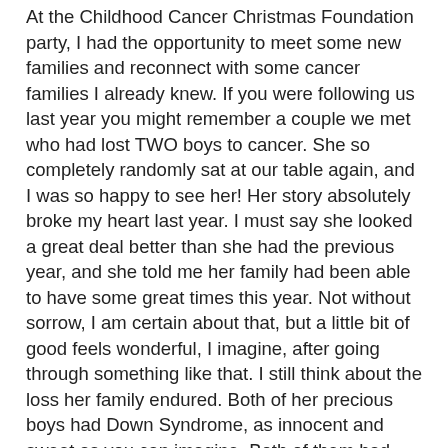At the Childhood Cancer Christmas Foundation party, I had the opportunity to meet some new families and reconnect with some cancer families I already knew. If you were following us last year you might remember a couple we met who had lost TWO boys to cancer. She so completely randomly sat at our table again, and I was so happy to see her! Her story absolutely broke my heart last year. I must say she looked a great deal better than she had the previous year, and she told me her family had been able to have some great times this year. Not without sorrow, I am certain about that, but a little bit of good feels wonderful, I imagine, after going through something like that. I still think about the loss her family endured. Both of her precious boys had Down Syndrome, as innocent and sweet as you can imagine. Both of them had their lives stolen by cancer.
Another couple that sat by us have a daughter with a brain tumor. She has had one since she was a toddler, and has had so many brain surgeries I couldn't keep track. Shunts that haven't worked, and had to be redone, surgery to remove the tumor, they have truly been through hell with cancer. I just sat there in jaw dropping disbelief listening to